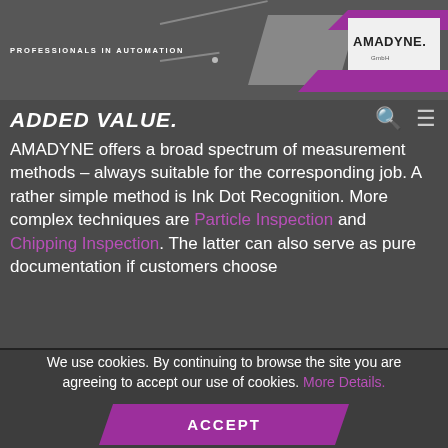PROFESSIONALS IN AUTOMATION — AMADYNE. GmbH
ADDED VALUE.
AMADYNE offers a broad spectrum of measurement methods – always suitable for the corresponding job. A rather simple method is Ink Dot Recognition. More complex techniques are Particle Inspection and Chipping Inspection. The latter can also serve as pure documentation if customers choose
We use cookies. By continuing to browse the site you are agreeing to accept our use of cookies. More Details.